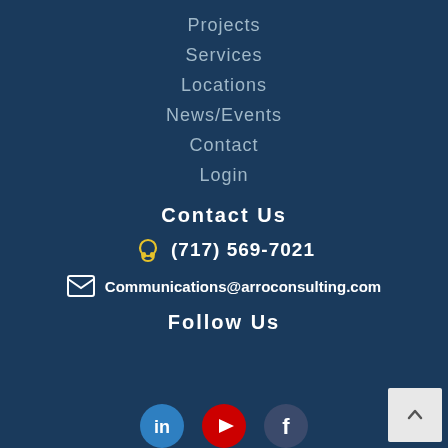Projects
Services
Locations
News/Events
Contact
Login
Contact Us
(717) 569-7021
Communications@arroconsulting.com
Follow Us